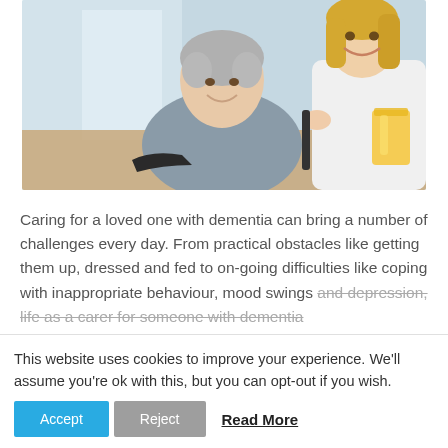[Figure (photo): A smiling elderly woman in a wheelchair being assisted by a younger caregiver (nurse/helper) who is also smiling. A glass of orange juice is visible on a table in the background. The setting appears to be a care home or domestic interior with a window in the background.]
Caring for a loved one with dementia can bring a number of challenges every day. From practical obstacles like getting them up, dressed and fed to on-going difficulties like coping with inappropriate behaviour, mood swings and depression, life as a carer for someone with dementia
This website uses cookies to improve your experience. We'll assume you're ok with this, but you can opt-out if you wish.